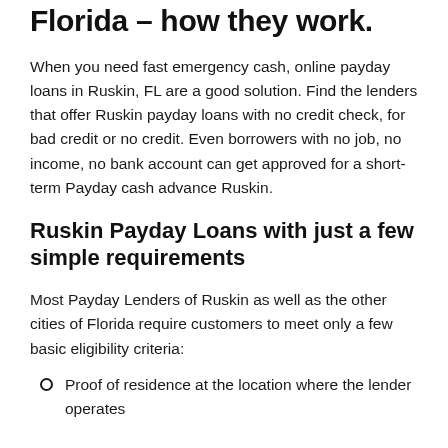Florida – how they work.
When you need fast emergency cash, online payday loans in Ruskin, FL are a good solution. Find the lenders that offer Ruskin payday loans with no credit check, for bad credit or no credit. Even borrowers with no job, no income, no bank account can get approved for a short-term Payday cash advance Ruskin.
Ruskin Payday Loans with just a few simple requirements
Most Payday Lenders of Ruskin as well as the other cities of Florida require customers to meet only a few basic eligibility criteria:
Proof of residence at the location where the lender operates